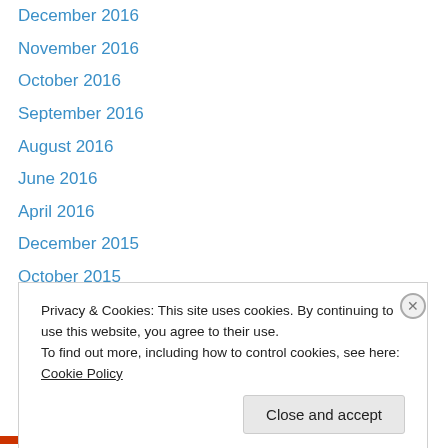December 2016
November 2016
October 2016
September 2016
August 2016
June 2016
April 2016
December 2015
October 2015
September 2015
August 2015
July 2015
June 2015
May 2015
Privacy & Cookies: This site uses cookies. By continuing to use this website, you agree to their use.
To find out more, including how to control cookies, see here: Cookie Policy
Close and accept